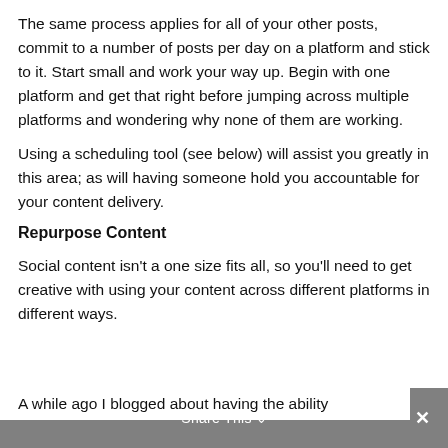The same process applies for all of your other posts, commit to a number of posts per day on a platform and stick to it. Start small and work your way up. Begin with one platform and get that right before jumping across multiple platforms and wondering why none of them are working.
Using a scheduling tool (see below) will assist you greatly in this area; as will having someone hold you accountable for your content delivery.
Repurpose Content
Social content isn't a one size fits all, so you'll need to get creative with using your content across different platforms in different ways.
A while ago I blogged about having the ability to turn 1x 2-minute video into 14 pieces of